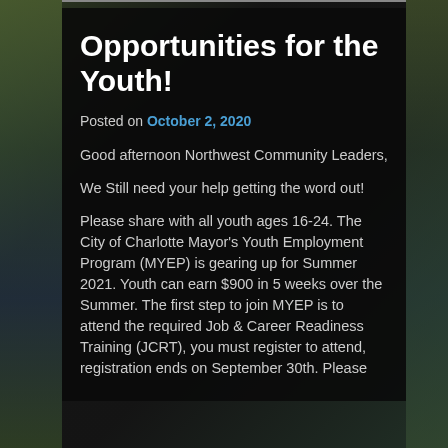Opportunities for the Youth!
Posted on October 2, 2020
Good afternoon Northwest Community Leaders,
We Still need your help getting the word out!
Please share with all youth ages 16-24. The City of Charlotte Mayor's Youth Employment Program (MYEP) is gearing up for Summer 2021. Youth can earn $900 in 5 weeks over the Summer. The first step to join MYEP is to attend the required Job & Career Readiness Training (JCRT), you must register to attend, registration ends on September 30th. Please